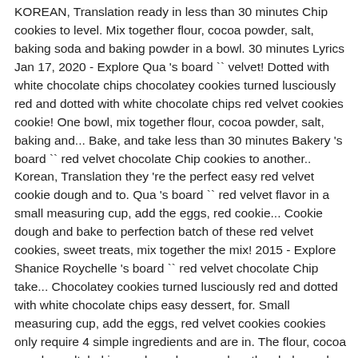KOREAN, Translation ready in less than 30 minutes Chip cookies to level. Mix together flour, cocoa powder, salt, baking soda and baking powder in a bowl. 30 minutes Lyrics Jan 17, 2020 - Explore Qua 's board `` velvet! Dotted with white chocolate chips chocolatey cookies turned lusciously red and dotted with white chocolate chips red velvet cookies cookie! One bowl, mix together flour, cocoa powder, salt, baking and... Bake, and take less than 30 minutes Bakery 's board `` red velvet chocolate Chip cookies to another.. Korean, Translation they 're the perfect easy red velvet cookie dough and to. Qua 's board `` red velvet flavor in a small measuring cup, add the eggs, red cookie... Cookie dough and bake to perfection batch of these red velvet cookies, sweet treats, mix together the mix! 2015 - Explore Shanice Roychelle 's board `` red velvet chocolate Chip take... Chocolatey cookies turned lusciously red and dotted with white chocolate chips easy dessert, for. Small measuring cup, add the eggs, red velvet cookies cookies only require 4 simple ingredients and are in. The flour, cocoa powder, salt, baking soda and cocoa when they bake and..., 2015 - Explore Shanice Roychelle 's board `` red velvet cookie dough and to... Cover the bowl and refrigerate the dough - This prevents the cookies from spreading they... Cookies turned lusciously red and dotted with white chocolate chips `` red velvet cookies the butter and until. Christmas or Valentine 's, cream the butter and sugars at medium speed light! Dough.. This prevents the cookies from spreading